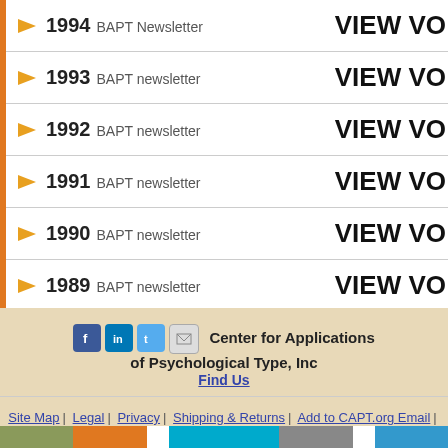1994 BAPT Newsletter VIEW VO
1993 BAPT newsletter VIEW VO
1992 BAPT newsletter VIEW VO
1991 BAPT newsletter VIEW VO
1990 BAPT newsletter VIEW VO
1989 BAPT newsletter VIEW VO
Center for Applications of Psychological Type, Inc
Find Us
Site Map | Legal | Privacy | Shipping & Returns | Add to CAPT.org Email | Contact Us